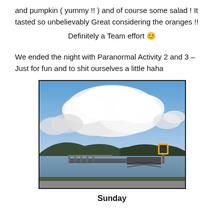and pumpkin ( yummy !! ) and of course some salad ! It tasted so unbelievably Great considering the oranges !! Definitely a Team effort 😊
We ended the night with Paranormal Activity 2 and 3 – Just for fun and to shit ourselves a little haha
[Figure (photo): Outdoor photo of a lake or reservoir with a dock/jetty extending into the water, surrounded by tree-covered hills under a partly cloudy blue sky. A yellow sign on a post is visible on the right side.]
Sunday